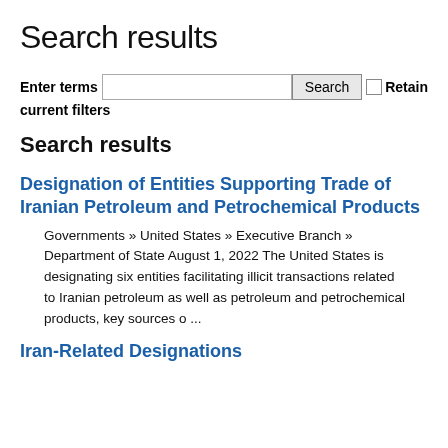Search results
Enter terms  Search  Retain current filters
Search results
Designation of Entities Supporting Trade of Iranian Petroleum and Petrochemical Products
Governments » United States » Executive Branch » Department of State August 1, 2022 The United States is designating six entities facilitating illicit transactions related to Iranian petroleum as well as petroleum and petrochemical products, key sources o ...
Iran-Related Designations